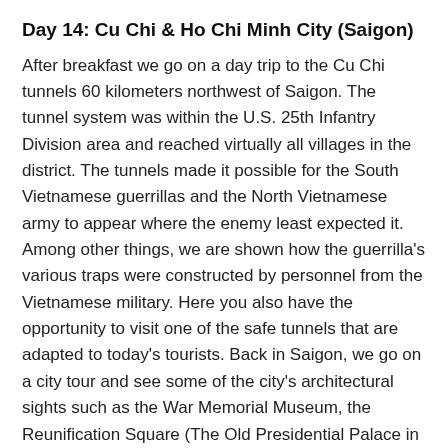Day 14: Cu Chi & Ho Chi Minh City (Saigon)
After breakfast we go on a day trip to the Cu Chi tunnels 60 kilometers northwest of Saigon. The tunnel system was within the U.S. 25th Infantry Division area and reached virtually all villages in the district. The tunnels made it possible for the South Vietnamese guerrillas and the North Vietnamese army to appear where the enemy least expected it. Among other things, we are shown how the guerrilla's various traps were constructed by personnel from the Vietnamese military. Here you also have the opportunity to visit one of the safe tunnels that are adapted to today's tourists. Back in Saigon, we go on a city tour and see some of the city's architectural sights such as the War Memorial Museum, the Reunification Square (The Old Presidential Palace in Saigon), Notre Dame Cathedral and the Main Post Office. Joint farewell dinner in the evening. Overnight in Ho Chi Minh City. (Breakfast,